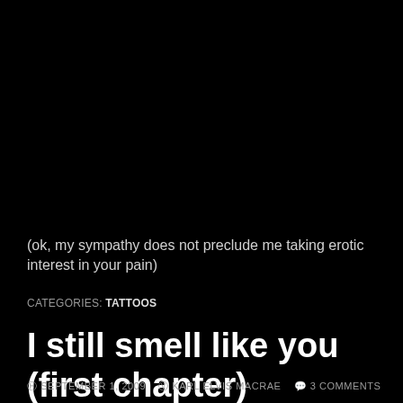(ok, my sympathy does not preclude me taking erotic interest in your pain)
CATEGORIES: TATTOOS
I still smell like you (first chapter)
SEPTEMBER 1, 2009  KARL ELVIS MACRAE  3 COMMENTS